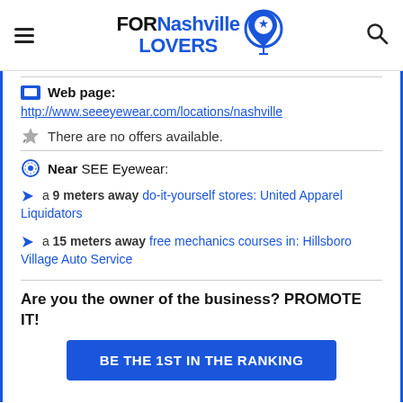FORNashville LOVERS
Web page:
http://www.seeeyewear.com/locations/nashville
There are no offers available.
Near SEE Eyewear:
a 9 meters away do-it-yourself stores: United Apparel Liquidators
a 15 meters away free mechanics courses in: Hillsboro Village Auto Service
Are you the owner of the business? PROMOTE IT!
BE THE 1ST IN THE RANKING